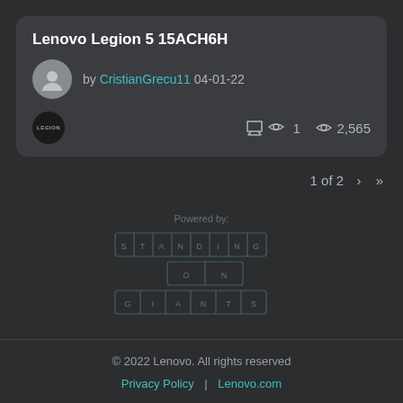Lenovo Legion 5 15ACH6H
by CristianGrecu11 04-01-22
1  2,565
1 of 2 > >>
[Figure (logo): Standing on Giants powered by logo with letter-spaced text in bordered cells]
© 2022 Lenovo. All rights reserved  Privacy Policy | Lenovo.com